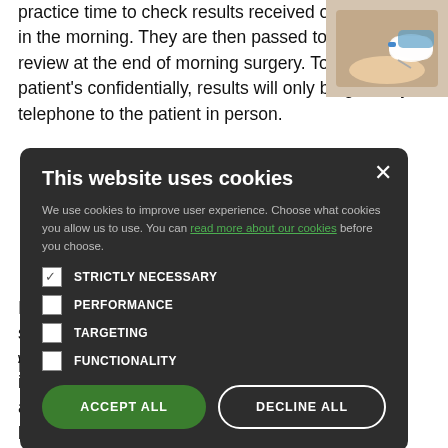practice time to check results received overnight or in the morning. They are then passed to the GP for review at the end of morning surgery. To protect the patient's confidentially, results will only be given by telephone to the patient in person.
[Figure (photo): Healthcare professional taking blood sample from patient's arm]
I ... can nominate s... let us know in w... f the person y...
P... re attending y...
B...
A... aken for testing i... ge of uses and a... ical test. For example, a blood test can be used to:
[Figure (screenshot): Cookie consent modal dialog with title 'This website uses cookies', description text with link, checkboxes for STRICTLY NECESSARY, PERFORMANCE, TARGETING, FUNCTIONALITY, and buttons ACCEPT ALL and DECLINE ALL]